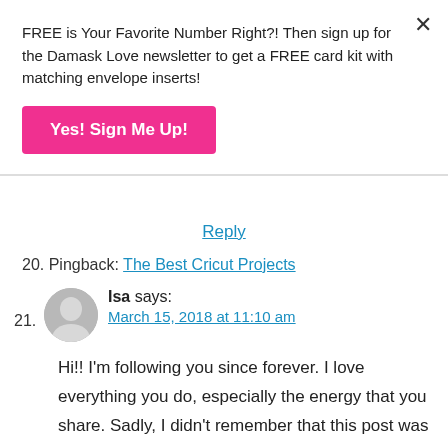FREE is Your Favorite Number Right?! Then sign up for the Damask Love newsletter to get a FREE card kit with matching envelope inserts!
Yes! Sign Me Up!
Reply
20. Pingback: The Best Cricut Projects
21. Isa says:
March 15, 2018 at 11:10 am
Hi!! I'm following you since forever. I love everything you do, especially the energy that you share. Sadly, I didn't remember that this post was yours since a watched a long time